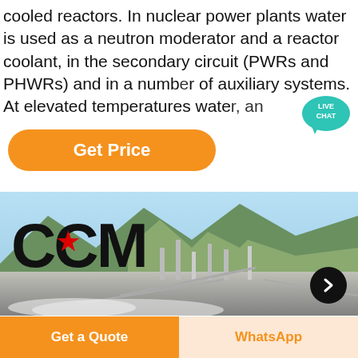cooled reactors. In nuclear power plants water is used as a neutron moderator and a reactor coolant, in the secondary circuit (PWRs and PHWRs) and in a number of auxiliary systems. At elevated temperatures water, an
[Figure (other): Orange 'Get Price' button with rounded corners]
[Figure (other): Teal live chat speech bubble with 'LIVE CHAT' text]
[Figure (photo): CCM branded photo showing a mining/crushing plant facility with mountains and blue sky in the background. Large black CCM letters with a red star logo overlay on the left.]
[Figure (other): Dark circular navigation button with right-pointing chevron]
[Figure (other): Bottom navigation bar with orange 'Get a Quote' button on the left and light orange 'WhatsApp' button on the right]